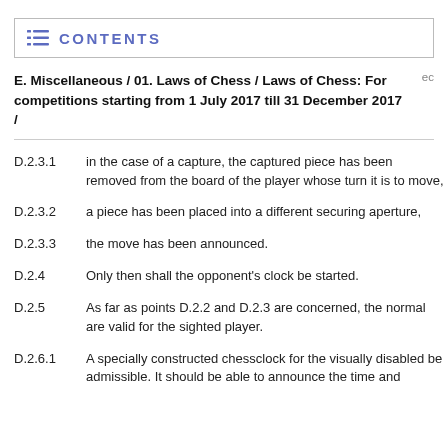CONTENTS
E. Miscellaneous / 01. Laws of Chess / Laws of Chess: For competitions starting from 1 July 2017 till 31 December 2017 /
D.2.3.1	in the case of a capture, the captured piece has been removed from the board of the player whose turn it is to move,
D.2.3.2	a piece has been placed into a different securing aperture,
D.2.3.3	the move has been announced.
D.2.4	Only then shall the opponent's clock be started.
D.2.5	As far as points D.2.2 and D.2.3 are concerned, the normal are valid for the sighted player.
D.2.6.1	A specially constructed chessclock for the visually disabled be admissible. It should be able to announce the time and